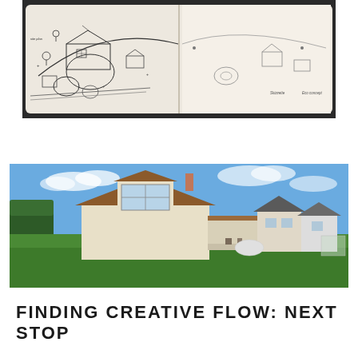[Figure (illustration): Open sketchbook/notebook showing hand-drawn architectural site plan with various building shapes, trees, pathways and annotations in pen/pencil. Dark background.]
[Figure (photo): Photograph of a residential house with cream/white walls, brown hip roof with large window gable, green lawn in foreground, additional houses visible in background, blue sky with light clouds.]
FINDING CREATIVE FLOW: NEXT STOP